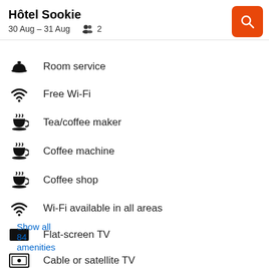Hôtel Sookie
30 Aug – 31 Aug   👥 2
Room service
Free Wi-Fi
Tea/coffee maker
Coffee machine
Coffee shop
Wi-Fi available in all areas
Flat-screen TV
Cable or satellite TV
Show all 84 amenities